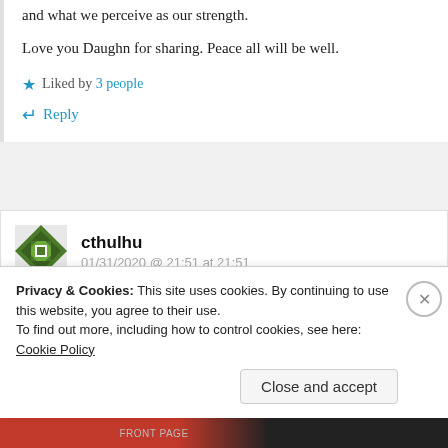and what we perceive as our strength.
Love you Daughn for sharing. Peace all will be well.
Liked by 3 people
Reply
cthulhu
01/31/2020 @ 21:51 at 21:51
Privacy & Cookies: This site uses cookies. By continuing to use this website, you agree to their use. To find out more, including how to control cookies, see here: Cookie Policy
Close and accept